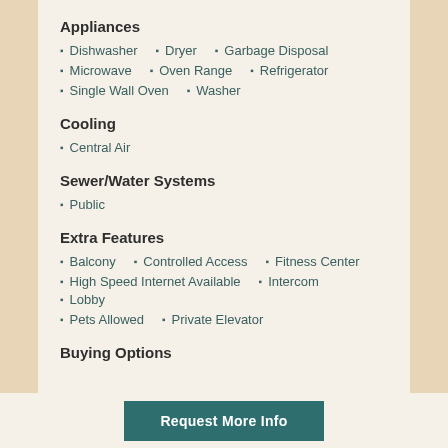Appliances
Dishwasher
Dryer
Garbage Disposal
Microwave
Oven Range
Refrigerator
Single Wall Oven
Washer
Cooling
Central Air
Sewer/Water Systems
Public
Extra Features
Balcony
Controlled Access
Fitness Center
High Speed Internet Available
Intercom
Lobby
Pets Allowed
Private Elevator
Buying Options
Request More Info